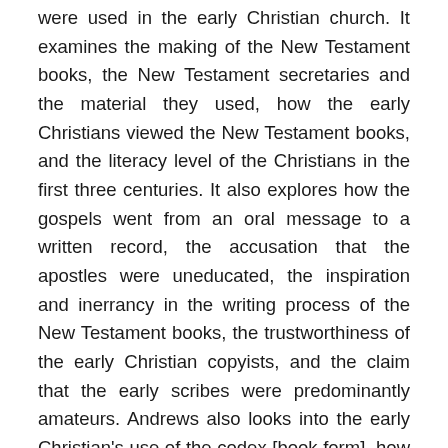were used in the early Christian church. It examines the making of the New Testament books, the New Testament secretaries and the material they used, how the early Christians viewed the New Testament books, and the literacy level of the Christians in the first three centuries. It also explores how the gospels went from an oral message to a written record, the accusation that the apostles were uneducated, the inspiration and inerrancy in the writing process of the New Testament books, the trustworthiness of the early Christian copyists, and the claim that the early scribes were predominantly amateurs. Andrews also looks into the early Christian's use of the codex [book form], how did the spread of early Christianity affect the text of the New Testament, and how was the text impacted by the Roman Empire's persecution of the early Christians?